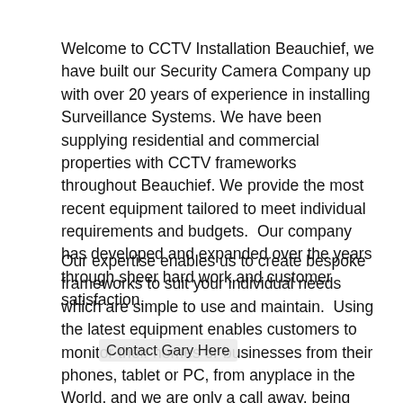Welcome to CCTV Installation Beauchief, we have built our Security Camera Company up with over 20 years of experience in installing Surveillance Systems. We have been supplying residential and commercial properties with CCTV frameworks throughout Beauchief. We provide the most recent equipment tailored to meet individual requirements and budgets.  Our company has developed and expanded over the years through sheer hard work and customer satisfaction.
Our expertise enables us to create bespoke frameworks to suit your individual needs which are simple to use and maintain.  Using the latest equipment enables customers to monitor their homes or businesses from their phones, tablet or PC, from anyplace in the World. and we are only a call away, being local to the area enables us to respond rapidly should you require our service.
[Figure (other): Chat widget button (circular black icon with speech bubble and ellipsis) overlaid on the text, with 'Contact Gary Here' label beside it]